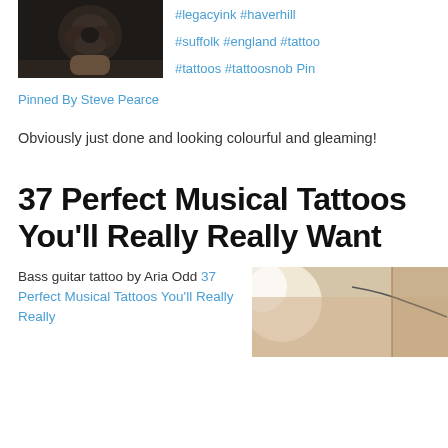[Figure (photo): Photo of a tattoo on a hand, rose design, black ink, on a dark background]
#legacyink #haverhill #suffolk #england #tattoo #tattoos #tattoosnob Pin
Pinned By Steve Pearce
Obviously just done and looking colourful and gleaming!
37 Perfect Musical Tattoos You'll Really Really Want
Bass guitar tattoo by Aria Odd 37 Perfect Musical Tattoos You'll Really Really
[Figure (photo): Photo showing a tattoo on someone's neck/shoulder area, minimalist line art design]